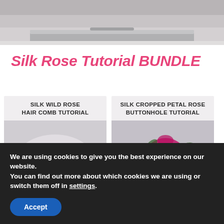[Figure (photo): Top portion of a laptop computer against a light grey background, viewed from above, showing the rear edge and hinge area.]
Silk Rose Tutorial BUNDLE
[Figure (illustration): Card for Silk Wild Rose Hair Comb Tutorial showing title text and a photo of a white hair comb decorated with pink and yellow silk wild roses and green leaves.]
[Figure (illustration): Card for Silk Cropped Petal Rose Buttonhole Tutorial showing title text and a photo of a vibrant pink/magenta silk rose with green leaves.]
We are using cookies to give you the best experience on our website.
You can find out more about which cookies we are using or switch them off in settings.
Accept